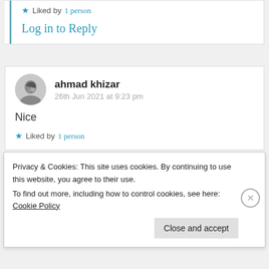Liked by 1 person
Log in to Reply
ahmad khizar
26th Jun 2021 at 9:23 pm
Nice
Liked by 1 person
Privacy & Cookies: This site uses cookies. By continuing to use this website, you agree to their use.
To find out more, including how to control cookies, see here: Cookie Policy
Close and accept